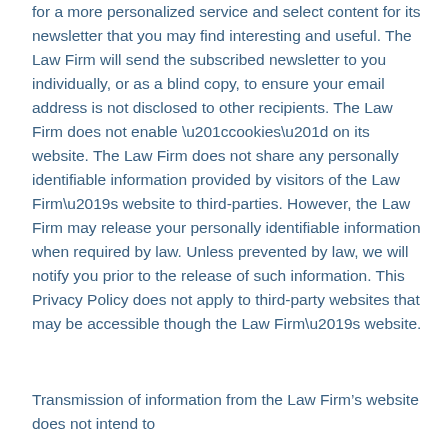for a more personalized service and select content for its newsletter that you may find interesting and useful. The Law Firm will send the subscribed newsletter to you individually, or as a blind copy, to ensure your email address is not disclosed to other recipients. The Law Firm does not enable “cookies” on its website. The Law Firm does not share any personally identifiable information provided by visitors of the Law Firm’s website to third-parties. However, the Law Firm may release your personally identifiable information when required by law. Unless prevented by law, we will notify you prior to the release of such information. This Privacy Policy does not apply to third-party websites that may be accessible though the Law Firm’s website.
Transmission of information from the Law Firm’s website does not intend to